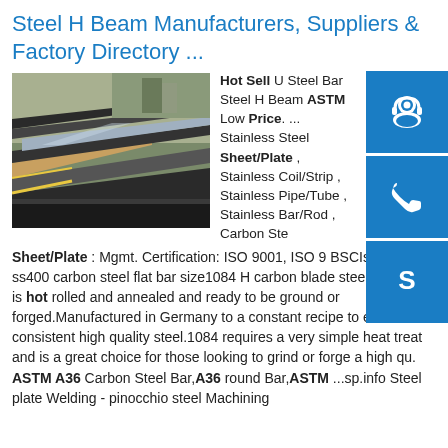Steel H Beam Manufacturers, Suppliers & Factory Directory ...
[Figure (photo): Photo of steel plates/sheets stacked outdoors]
Hot Sell U Steel Bar Steel H Beam ASTM Low Price. ... Stainless Steel Sheet/Plate , Stainless Coil/Strip , Stainless Pipe/Tube , Stainless Bar/Rod , Carbon Steel Sheet/Plate : Mgmt. Certification: ISO 9001, ISO 9 BSCIsp.info ss400 carbon steel flat bar size1084 H carbon blade steel This steel is hot rolled and annealed and ready to be ground or forged.Manufactured in Germany to a constant recipe to ensure a consistent high quality steel.1084 requires a very simple heat treat and is a great choice for those looking to grind or forge a high qu. ASTM A36 Carbon Steel Bar,A36 round Bar,ASTM ...sp.info Steel plate Welding - pinocchio steel Machining